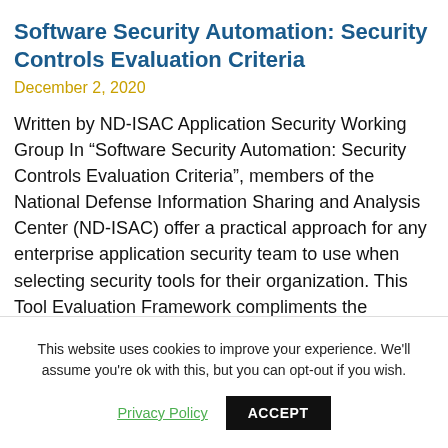Software Security Automation: Security Controls Evaluation Criteria
December 2, 2020
Written by ND-ISAC Application Security Working Group In “Software Security Automation: Security Controls Evaluation Criteria”, members of the National Defense Information Sharing and Analysis Center (ND-ISAC) offer a practical approach for any enterprise application security team to use when selecting security tools for their organization. This Tool Evaluation Framework compliments the
This website uses cookies to improve your experience. We'll assume you're ok with this, but you can opt-out if you wish.
Privacy Policy   ACCEPT